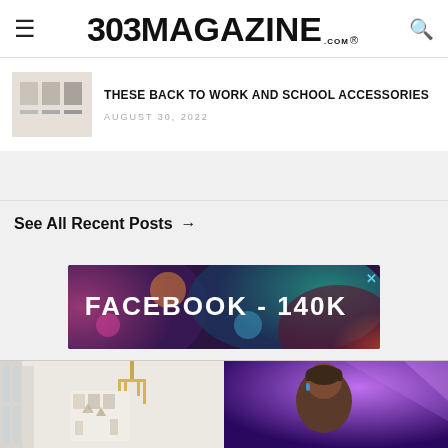303 MAGAZINE.COM
THESE BACK TO WORK AND SCHOOL ACCESSORIES
AUGUST 30, 2022
See All Recent Posts →
[Figure (infographic): Facebook 140K promotional banner with colorful bokeh background]
[Figure (photo): Interior photo with chandelier and wall art on the left; person under purple lighting on the right]